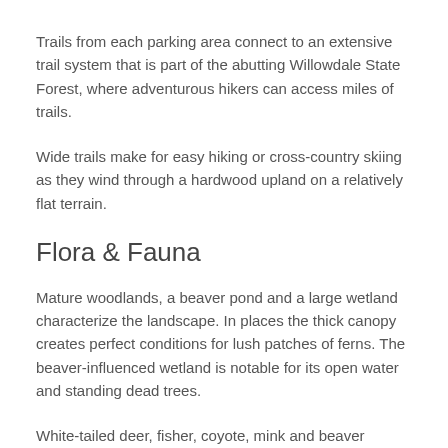Trails from each parking area connect to an extensive trail system that is part of the abutting Willowdale State Forest, where adventurous hikers can access miles of trails.
Wide trails make for easy hiking or cross-country skiing as they wind through a hardwood upland on a relatively flat terrain.
Flora & Fauna
Mature woodlands, a beaver pond and a large wetland characterize the landscape. In places the thick canopy creates perfect conditions for lush patches of ferns. The beaver-influenced wetland is notable for its open water and standing dead trees.
White-tailed deer, fisher, coyote, mink and beaver